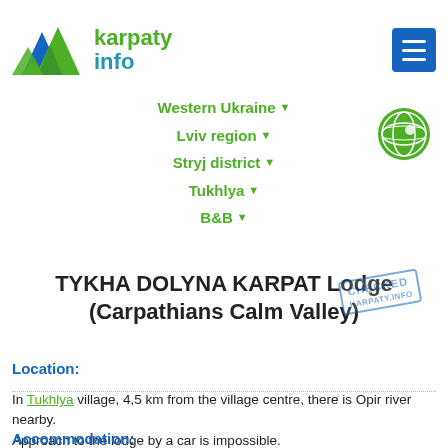[Figure (logo): Karpaty Info logo with mountain symbol in blue and green, and text 'karpaty info']
Western Ukraine ▾
Lviv region ▾
Stryj district ▾
Tukhlya ▾
B&B ▾
TYKHA DOLYNA KARPAT Lodge (Carpathians Calm Valley)
Location:
In Tukhlya village, 4,5 km from the village centre, there is Opir river nearby.
Approach to the lodge by a car is impossible.
Accommodation: